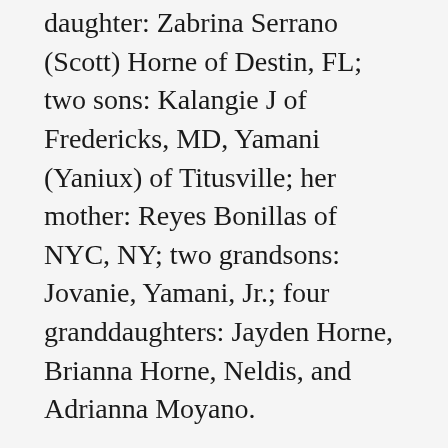daughter: Zabrina Serrano (Scott) Horne of Destin, FL; two sons: Kalangie J of Fredericks, MD, Yamani (Yaniux) of Titusville; her mother: Reyes Bonillas of NYC, NY; two grandsons: Jovanie, Yamani, Jr.; four granddaughters: Jayden Horne, Brianna Horne, Neldis, and Adrianna Moyano.
There will be a memorial service Saturday, 1/18 at Fox Lake Park, beginning at 2:00 PM.
To share a memory of Maria or leave a special message for her family, please click the Share